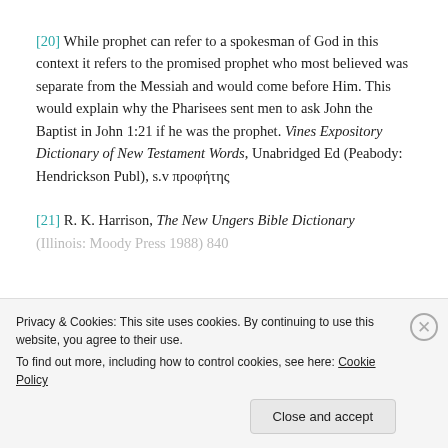[20] While prophet can refer to a spokesman of God in this context it refers to the promised prophet who most believed was separate from the Messiah and would come before Him. This would explain why the Pharisees sent men to ask John the Baptist in John 1:21 if he was the prophet. Vines Expository Dictionary of New Testament Words, Unabridged Ed (Peabody: Hendrickson Publ), s.v προφήτης
[21] R. K. Harrison, The New Ungers Bible Dictionary (Illinois: Moody Press 1988) 840
Privacy & Cookies: This site uses cookies. By continuing to use this website, you agree to their use. To find out more, including how to control cookies, see here: Cookie Policy